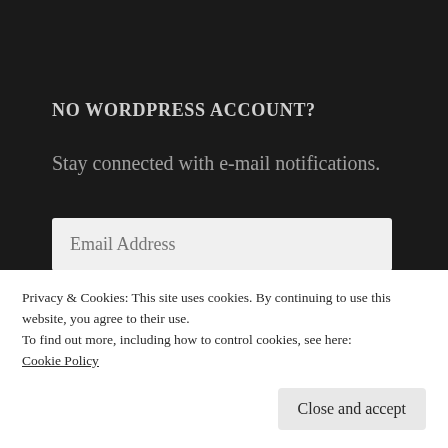NO WORDPRESS ACCOUNT?
Stay connected with e-mail notifications.
[Figure (screenshot): Email address input field, light grey background, placeholder text 'Email Address']
[Figure (screenshot): Green 'Follow' button]
Privacy & Cookies: This site uses cookies. By continuing to use this website, you agree to their use.
To find out more, including how to control cookies, see here:
Cookie Policy
Close and accept